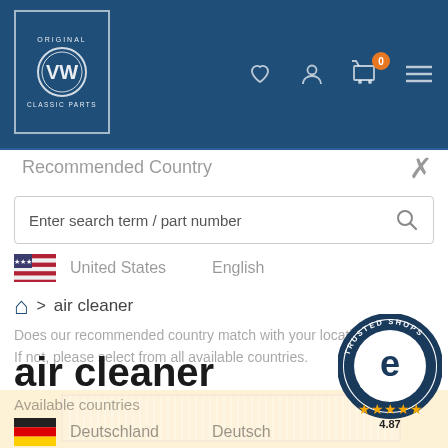VW Original Classic Parts – navigation header with logo, wishlist, account, cart (0), menu icons
Recommended Country
Enter search term / part number
United States    English
🏠 > air cleaner
Does our recommended country match with your location? If not, please select from all available countries.
air cleaner
Available countries
Deutschland    Deutsch
Schweiz    Deutsch
[Figure (other): Yellow/orange air cleaner filter visible at bottom of page]
[Figure (other): Trusted Shops badge with 4.87 rating and 5 gold stars]